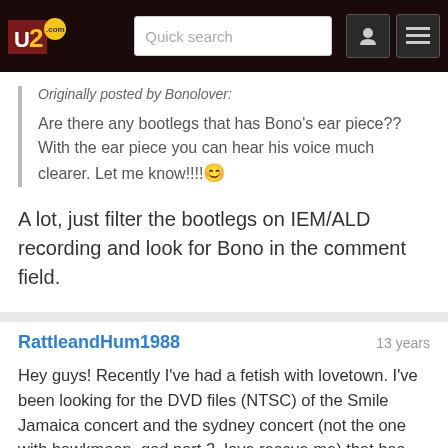U2.com START | Quick search
Originally posted by Bonolover:
Are there any bootlegs that has Bono's ear piece?? With the ear piece you can hear his voice much clearer. Let me know!!!!😊
A lot, just filter the bootlegs on IEM/ALD recording and look for Bono in the comment field.
RattleandHum1988
13 years
Hey guys! Recently I've had a fetish with lovetown. I've been looking for the DVD files (NTSC) of the Smile Jamaica concert and the sydney concert (not the one with hawkmoon, god part 2, love rescue me) that has Hawkmoon, Desire